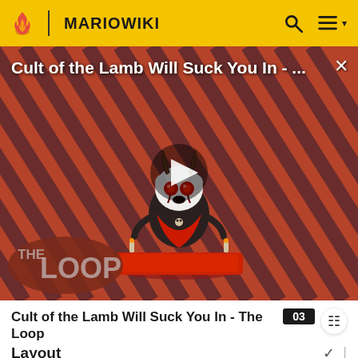MARIOWIKI
[Figure (screenshot): Video thumbnail for 'Cult of the Lamb Will Suck You In - The Loop' showing a cartoon lamb character on a red pedestal against a diagonal stripe background, with a play button overlay and 'THE LOOP' text badge at the bottom left. An X close button is at the top right.]
Cult of the Lamb Will Suck You In - The Loop
Layout
The player starts in a lava cave with a Cog turning clockwise, and a Podoboo is jumping around the gear. A ?